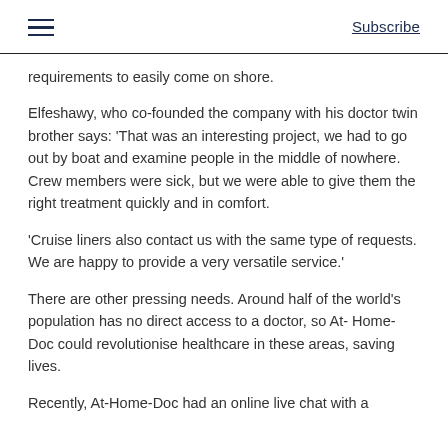Subscribe
requirements to easily come on shore.
Elfeshawy, who co-founded the company with his doctor twin brother says: ‘That was an interesting project, we had to go out by boat and examine people in the middle of nowhere. Crew members were sick, but we were able to give them the right treatment quickly and in comfort.
‘Cruise liners also contact us with the same type of requests. We are happy to provide a very versatile service.’
There are other pressing needs. Around half of the world’s population has no direct access to a doctor, so At- Home-Doc could revolutionise healthcare in these areas, saving lives.
Recently, At-Home-Doc had an online live chat with a